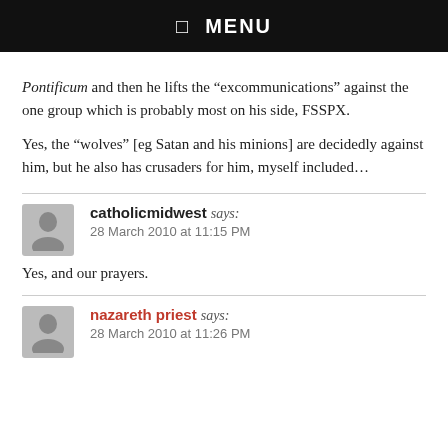☰ MENU
Pontificum and then he lifts the “excommunications” against the one group which is probably most on his side, FSSPX.
Yes, the “wolves” [eg Satan and his minions] are decidedly against him, but he also has crusaders for him, myself included…
catholicmidwest says:
28 March 2010 at 11:15 PM
Yes, and our prayers.
nazareth priest says:
28 March 2010 at 11:26 PM